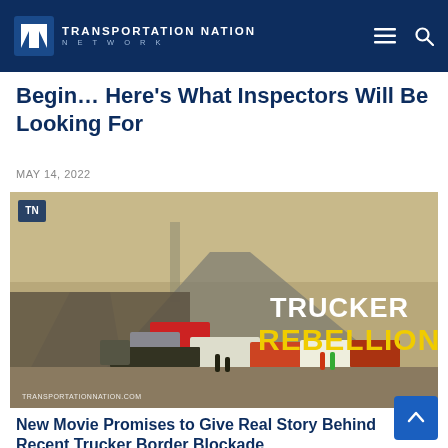Transportation Nation Network
Begin... Here’s What Inspectors Will Be Looking For
MAY 14, 2022
[Figure (photo): Aerial view of trucks and vehicles blocking a highway road, with text overlay reading TRUCKER REBELLION in white and yellow bold letters. TransportationNation.com watermark in lower left.]
New Movie Promises to Give Real Story Behind Recent Trucker Border Blockade